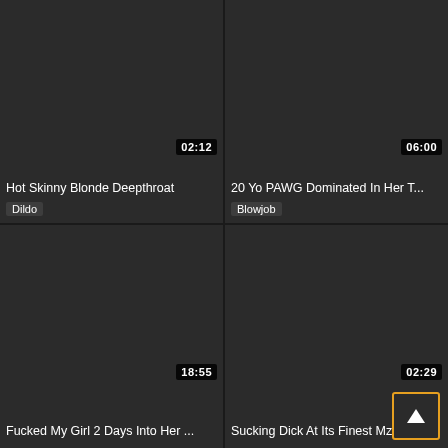[Figure (screenshot): Video thumbnail placeholder top-left, dark background, duration 02:12]
Hot Skinny Blonde Deepthroat
Dildo
[Figure (screenshot): Video thumbnail placeholder top-right, dark background, duration 06:00]
20 Yo PAWG Dominated In Her T...
Blowjob
[Figure (screenshot): Video thumbnail placeholder bottom-left, dark background, duration 18:55]
Fucked My Girl 2 Days Into Her ...
[Figure (screenshot): Video thumbnail placeholder bottom-right, dark background, duration 02:29, scroll-to-top button]
Sucking Dick At Its Finest Mz De...